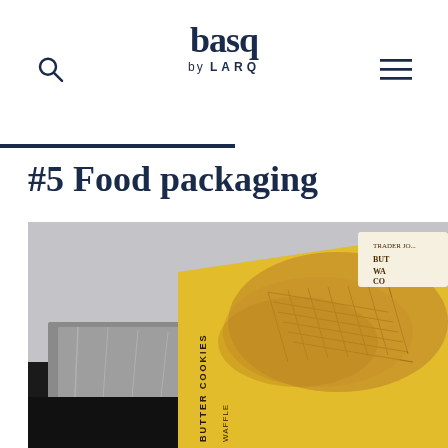basq by LARQ
#5 Food packaging
[Figure (photo): A package of Trader Joe's Belgian Butter Waffle Cookies shown at an angle on a gray background. The packaging features a yellow design with images of the waffle cookies on the front, and has silver/foil wrapping visible on one side.]